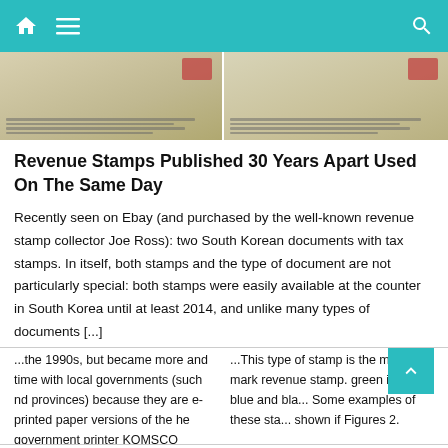[Figure (photo): Two South Korean documents with tax stamps shown side by side]
Revenue Stamps Published 30 Years Apart Used On The Same Day
Recently seen on Ebay (and purchased by the well-known revenue stamp collector Joe Ross): two South Korean documents with tax stamps. In itself, both stamps and the type of document are not particularly special: both stamps were easily available at the counter in South Korea until at least 2014, and unlike many types of documents [...]
...the 1990s, but became more and time with local governments (such nd provinces) because they are e-printed paper versions of the he government printer KOMSCO
...This type of stamp is the meter mark revenue stamp. green ink, but blue and bla... Some examples of these sta... shown if Figures 2.
발급기용〉
Fig... enue stam...